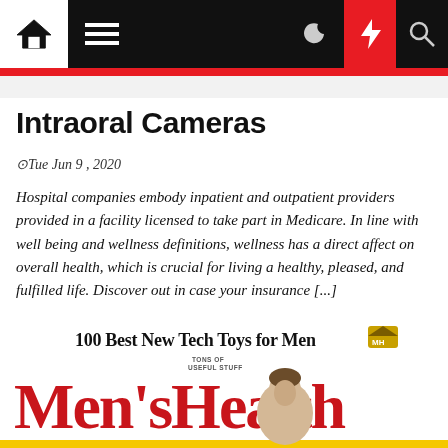Navigation bar with home, menu, moon, flash, and search icons
Intraoral Cameras
⊙Tue Jun 9 , 2020
Hospital companies embody inpatient and outpatient providers provided in a facility licensed to take part in Medicare. In line with well being and wellness definitions, wellness has a direct affect on overall health, which is crucial for living a healthy, pleased, and fulfilled life. Discover out in case your insurance [...]
[Figure (photo): Men's Health magazine cover showing '100 Best New Tech Toys for Men' headline and large red Men's Health masthead with a male model]